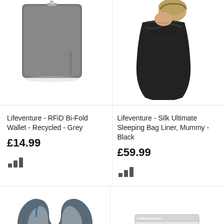[Figure (photo): Grey Lifeventure RFID Bi-Fold Wallet, recycled material, shown standing upright]
[Figure (photo): Person inside a black Lifeventure Silk Ultimate Sleeping Bag Liner, Mummy style]
Lifeventure - RFiD Bi-Fold Wallet - Recycled - Grey
Lifeventure - Silk Ultimate Sleeping Bag Liner, Mummy - Black
£14.99
£59.99
[Figure (infographic): Bar chart popularity icon - small bars graphic]
[Figure (infographic): Bar chart popularity icon - small bars graphic]
[Figure (photo): Grey Lifeventure inflatable travel neck pillow]
[Figure (photo): Clear plastic box of earplugs in yellow and orange colors]